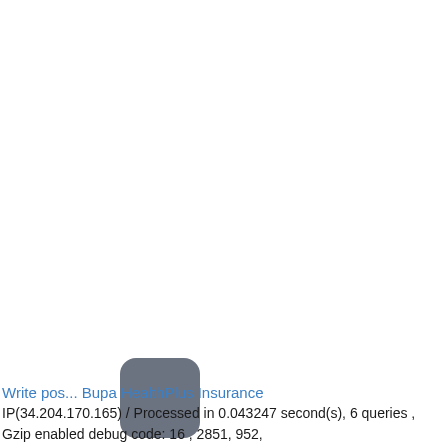[Figure (other): Gray rounded rectangle icon/button overlaid on the page near bottom-left area]
Write pos... Bupa HealthPlus Insurance
IP(34.204.170.165) / Processed in 0.043247 second(s), 6 queries ,
Gzip enabled debug code: 16 , 2851, 952,